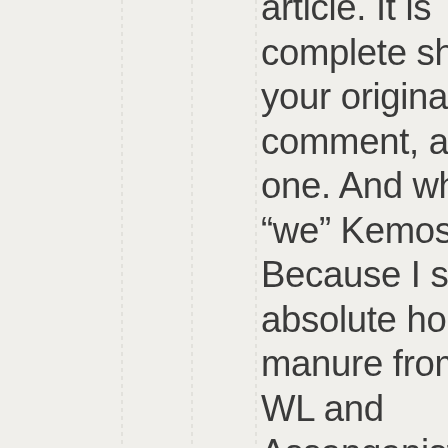article. It is complete shit, as is your original comment, and this one. And who is “we” Kemosabe? Because I see absolute horse manure from the WL and Assanganista cult. Every time you try to pollute this blog with that nonsense, I will be waiting for